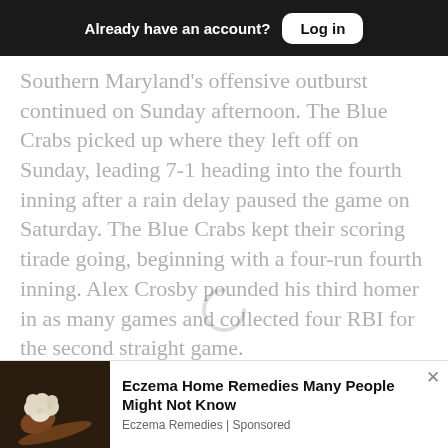Already have an account? Log in
Southern Maryland's offensive outburst continued on Sunday afternoon. The Blue Crabs picked up where they left off on Sunday, leading 7-1 heading into the fourth inning after a rain delay paused the game on Saturday. The Blue Crabs kept their scoring tirade going, beginning with a four-run fourth inning. Alex Crosby pounded his third homer in as many games and collected four RBI for the second straight game.
[Figure (other): Advertisement banner: photo of cauliflower on wooden spoon with dark background. Ad title: 'Eczema Home Remedies Many People Might Not Know'. Source: 'Eczema Remedies | Sponsored'. Close button (×) in top-right corner.]